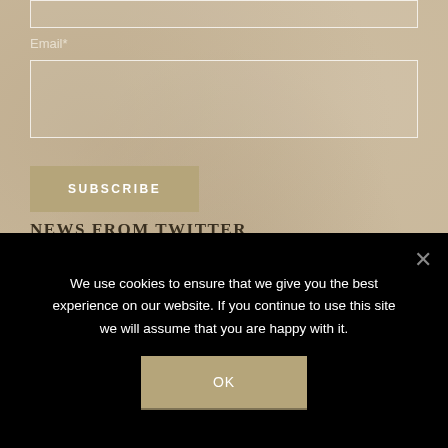Email*
[Figure (other): Empty email input text field with white border on sandy textured background]
[Figure (other): SUBSCRIBE button in tan/khaki color with white uppercase text]
NEWS FROM TWITTER
[Figure (other): Twitter profile row with blue circular Twitter bird icon, name Rowan Godel, and blue Follow button]
We use cookies to ensure that we give you the best experience on our website. If you continue to use this site we will assume that you are happy with it.
[Figure (other): OK button in tan/khaki color on black cookie consent banner]
[Figure (other): Close X button on cookie consent banner]